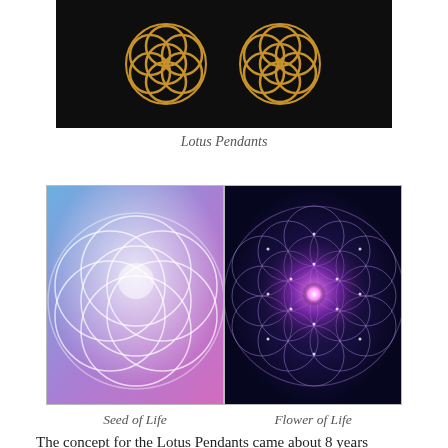[Figure (photo): Photo of two gold Lotus Pendants on a black background]
Lotus Pendants
[Figure (illustration): Side-by-side illustrations: left shows Seed of Life sacred geometry on a blue-to-purple gradient background with overlapping white circles; right shows Flower of Life sacred geometry on a dark navy background with glowing purple and pink pattern and light nodes]
Seed of Life
Flower of Life
The concept for the Lotus Pendants came about 8 years